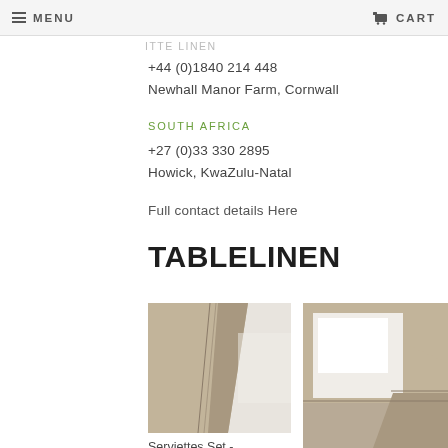MENU   CART
+44 (0)1840 214 448
Newhall Manor Farm, Cornwall
SOUTH AFRICA
+27 (0)33 330 2895
Howick, KwaZulu-Natal
Full contact details Here
TABLELINEN
[Figure (photo): Close-up of folded table linen fabric in beige/taupe color showing stitched hem detail]
[Figure (photo): Close-up of folded table linen fabric in white and beige showing corner/hem detail]
Serviettes Set -